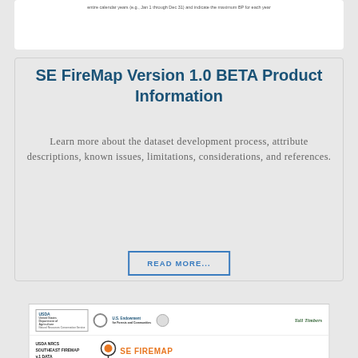[Figure (screenshot): Partial screenshot of a web interface showing calendar year input fields]
SE FireMap Version 1.0 BETA Product Information
Learn more about the dataset development process, attribute descriptions, known issues, limitations, considerations, and references.
READ MORE...
[Figure (screenshot): Screenshot of USDA NRCS Southeast Firemap v.1 Data Use Agreement document showing logos of USDA, U.S. Endowment for Forests and Communities, and Tall Timbers, along with SE FireMap branding and agreement text.]